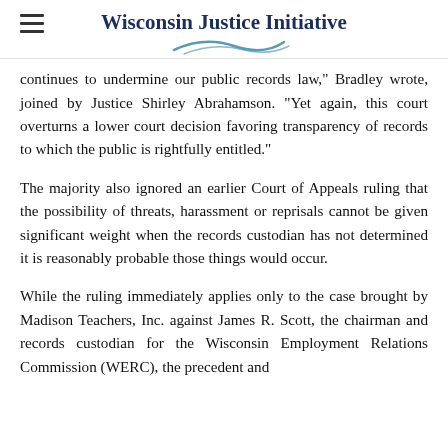Wisconsin Justice Initiative
continues to undermine our public records law, Bradley wrote, joined by Justice Shirley Abrahamson. "Yet again, this court overturns a lower court decision favoring transparency of records to which the public is rightfully entitled."
The majority also ignored an earlier Court of Appeals ruling that the possibility of threats, harassment or reprisals cannot be given significant weight when the records custodian has not determined it is reasonably probable those things would occur.
While the ruling immediately applies only to the case brought by Madison Teachers, Inc. against James R. Scott, the chairman and records custodian for the Wisconsin Employment Relations Commission (WERC), the precedent and